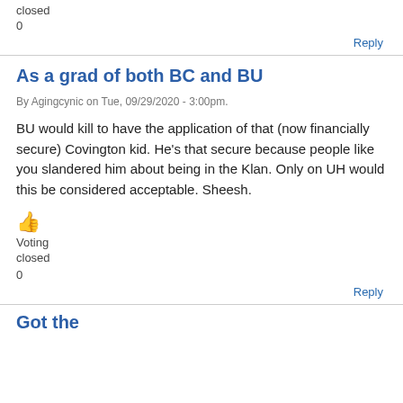closed
0
Reply
As a grad of both BC and BU
By Agingcynic on Tue, 09/29/2020 - 3:00pm.
BU would kill to have the application of that (now financially secure) Covington kid. He’s that secure because people like you slandered him about being in the Klan. Only on UH would this be considered acceptable. Sheesh.
Voting closed
0
Reply
Got the